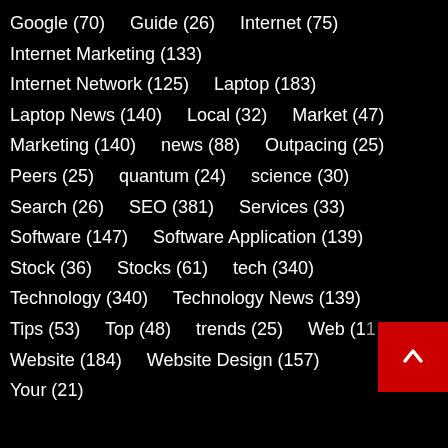Google (70)   Guide (26)   Internet (75)
Internet Marketing (133)
Internet Network (125)   Laptop (183)
Laptop News (140)   Local (32)   Market (47)
Marketing (140)   news (88)   Outpacing (25)
Peers (25)   quantum (24)   science (30)
Search (26)   SEO (381)   Services (33)
Software (147)   Software Application (139)
Stock (36)   Stocks (61)   tech (340)
Technology (340)   Technology News (139)
Tips (53)   Top (48)   trends (25)   Web (11...)
Website (184)   Website Design (157)
Your (21...)